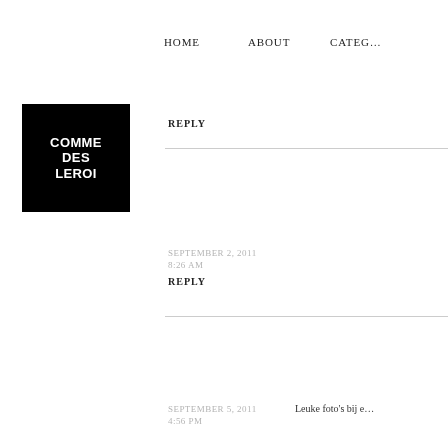HOME   ABOUT   CATEG…
[Figure (logo): Comme des Leroi logo — white bold text on black square background]
REPLY
DENNY
SEPTEMBER 2, 2011
8:26 AM
REPLY
I love this profile
SAMM
SEPTEMBER 5, 2011
4:56 PM
Wauw die schoe…
Leuke foto's bij e…